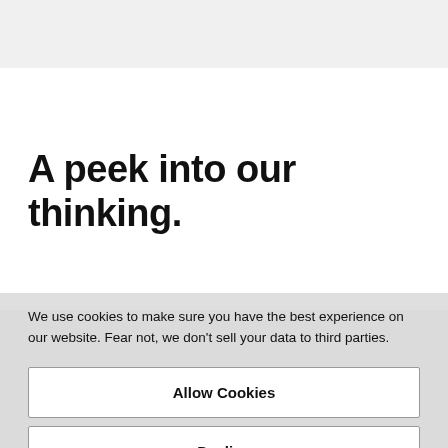A peek into our thinking.
[Figure (photo): Grayscale background photo visible at the bottom of the page, partially obscured by cookie consent overlay.]
We use cookies to make sure you have the best experience on our website. Fear not, we don't sell your data to third parties.
Allow Cookies
Decline